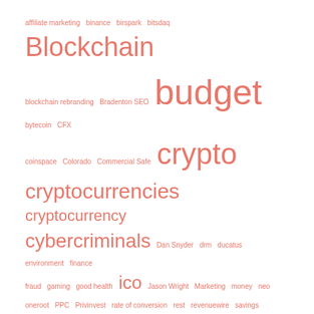[Figure (other): Tag cloud of cryptocurrency and finance related terms in varying sizes and shades of red/salmon color. Larger words indicate higher frequency: Blockchain, budget, crypto, cryptocurrencies, cryptocurrency, cybercriminals, ico are among the largest. Smaller terms include affiliate marketing, binance, birspark, bitsdaq, blockchain rebranding, Bradenton SEO, bytecoin, CFX, coinspace, Colorado, Commercial Safe, Dan Snyder, drm, ducatus, environment, finance, fraud, gaming, good health, Jason Wright, Marketing, money, neo, oneroot, PPC, Privinvest, rate of conversion, rest, revenuewire, savings, sidechain, sleep, Small Business, starbit, STO, symmetry financial group, testnet, truffa coinspace.]
Crypto Prices